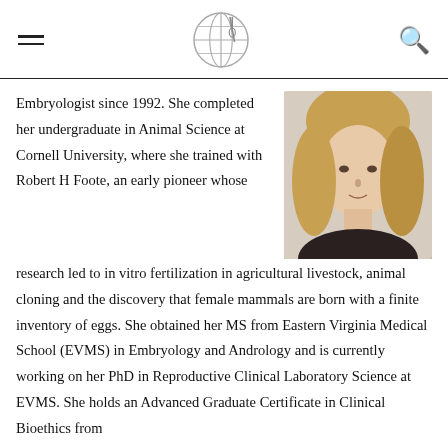navigation header with hamburger menu, logo, and search icon
[Figure (photo): Headshot of a blonde woman in a dark turtleneck top, against a light background]
Embryologist since 1992. She completed her undergraduate in Animal Science at Cornell University, where she trained with Robert H Foote, an early pioneer whose research led to in vitro fertilization in agricultural livestock, animal cloning and the discovery that female mammals are born with a finite inventory of eggs. She obtained her MS from Eastern Virginia Medical School (EVMS) in Embryology and Andrology and is currently working on her PhD in Reproductive Clinical Laboratory Science at EVMS. She holds an Advanced Graduate Certificate in Clinical Bioethics from